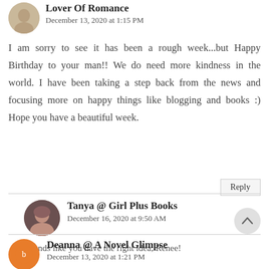Lover Of Romance
December 13, 2020 at 1:15 PM
I am sorry to see it has been a rough week...but Happy Birthday to your man!! We do need more kindness in the world. I have been taking a step back from the news and focusing more on happy things like blogging and books :) Hope you have a beautiful week.
Reply
Tanya @ Girl Plus Books
December 16, 2020 at 9:50 AM
Sounds like you have the right idea, Renee!
Deanna @ A Novel Glimpse
December 13, 2020 at 1:21 PM